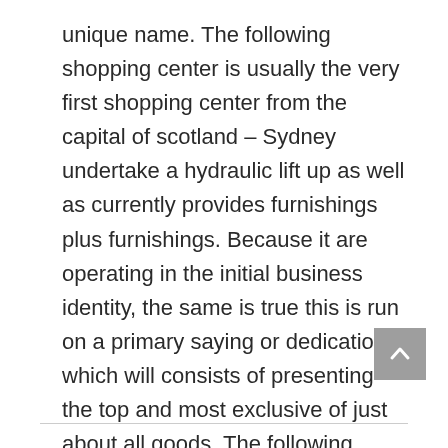unique name. The following shopping center is usually the very first shopping center from the capital of scotland – Sydney undertake a hydraulic lift up as well as currently provides furnishings plus furnishings. Because it are operating in the initial business identity, the same is true this is run on a primary saying or dedication which will consists of presenting the top and most exclusive of just about all goods. The following shopping mall can be found in Industry Road along with Castlereagh Street.